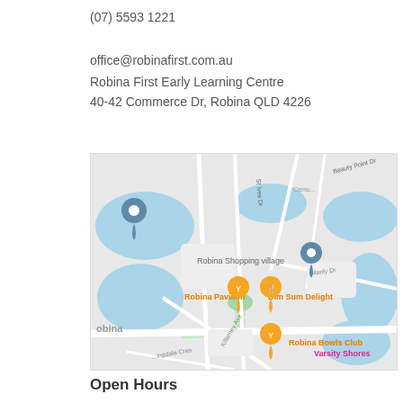(07) 5593 1221
office@robinafirst.com.au
Robina First Early Learning Centre
40-42 Commerce Dr, Robina QLD 4226
[Figure (map): Google Maps screenshot showing Robina area with markers for Robina Shopping Village, Robina Pavilion, Dim Sum Delight, and Robina Bowls Club. Area shows lakes/water bodies in blue, roads, and suburbs including Varsity Shores label.]
Open Hours